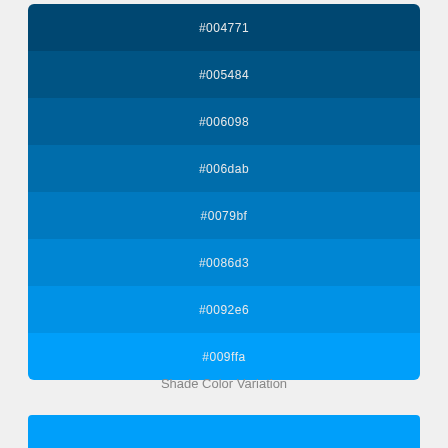[Figure (infographic): Color swatch palette showing 8 blue shade variations from dark (#004771) to bright (#009ffa), each labeled with its hex color code in light gray text on the corresponding colored background stripe.]
Shade Color Variation